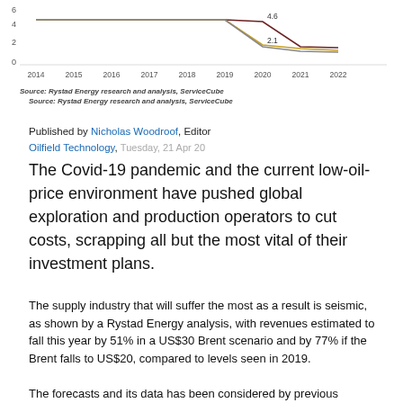[Figure (line-chart): Seismic market revenues]
Source: Rystad Energy research and analysis, ServiceCube
Published by Nicholas Woodroof, Editor
Oilfield Technology, Tuesday, 21 Apr 20
The Covid-19 pandemic and the current low-oil-price environment have pushed global exploration and production operators to cut costs, scrapping all but the most vital of their investment plans.
The supply industry that will suffer the most as a result is seismic, as shown by a Rystad Energy analysis, with revenues estimated to fall this year by 51% in a US$30 Brent scenario and by 77% if the Brent falls to US$20, compared to levels seen in 2019.
The forecast and its data has been considered by previous...